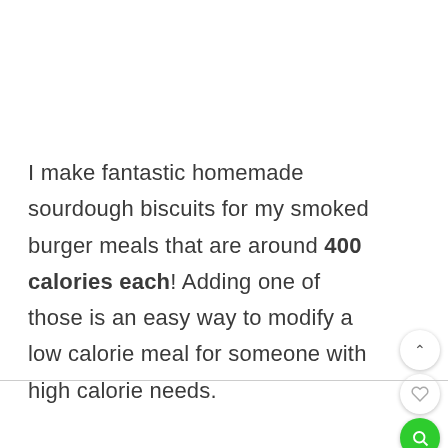I make fantastic homemade sourdough biscuits for my smoked burger meals that are around 400 calories each! Adding one of those is an easy way to modify a low calorie meal for someone with high calorie needs.